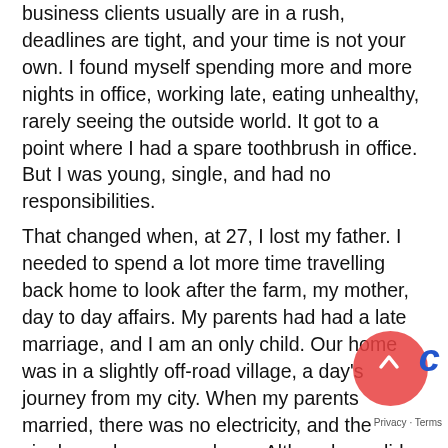business clients usually are in a rush, deadlines are tight, and your time is not your own. I found myself spending more and more nights in office, working late, eating unhealthy, rarely seeing the outside world. It got to a point where I had a spare toothbrush in office. But I was young, single, and had no responsibilities.
That changed when, at 27, I lost my father. I needed to spend a lot more time travelling back home to look after the farm, my mother, day to day affairs. My parents had had a late marriage, and I am an only child. Our home was in a slightly off-road village, a day's journey from my city. When my parents married, there was no electricity, and the single road was a mud one. Although we did get electricity later, and our main road was tarred, both these were moody things. The road was rutted after every harvest by